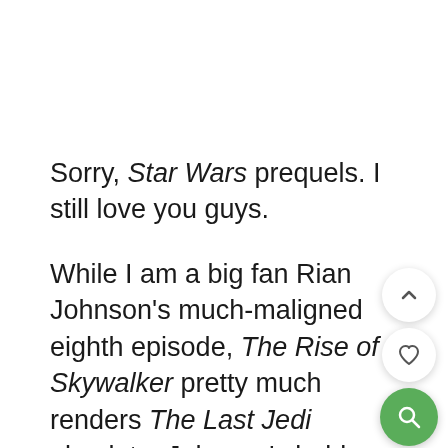Sorry, Star Wars prequels. I still love you guys.
While I am a big fan Rian Johnson's much-maligned eighth episode, The Rise of Skywalker pretty much renders The Last Jedi obsolete. Johnson's bold and subversive storytelling choices (the explanation of Rey's parents, for example) are swept aside in favor of big reveals and secrets that knock down dominos set up in The Force Awakens.